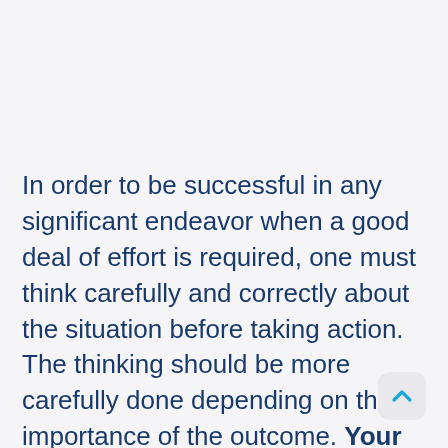In order to be successful in any significant endeavor when a good deal of effort is required, one must think carefully and correctly about the situation before taking action. The thinking should be more carefully done depending on the importance of the outcome. Your health and the wellbeing of your body are of primary importance. Every rational person wants continuing utmost bodily functioning for one's entire lifespan but how to maintain that splendid goal's essence relies on correct thinking about